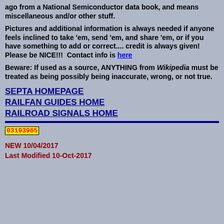ago from a National Semiconductor data book, and means miscellaneous and/or other stuff.
Pictures and additional information is always needed if anyone feels inclined to take 'em, send 'em, and share 'em, or if you have something to add or correct.... credit is always given!  Please be NICE!!!  Contact info is here
Beware: If used as a source, ANYTHING from Wikipedia must be treated as being possibly being inaccurate, wrong, or not true.
SEPTA HOMEPAGE
RAILFAN GUIDES HOME
RAILROAD SIGNALS HOME
03193965
NEW 10/04/2017
Last Modified 10-Oct-2017